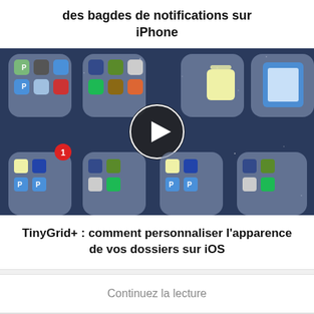des bagdes de notifications sur iPhone
[Figure (screenshot): Screenshot of iPhone home screen showing app folders with notification badges. A play button overlay is shown in the center. Apps include Notes, Scanner, Music, Paprika (P), Spotify, Tumblr etc. Bottom shows before/after comparison of folder appearance.]
TinyGrid+ : comment personnaliser l’apparence de vos dossiers sur iOS
Continuez la lecture
YTABConfig : passer au niveau